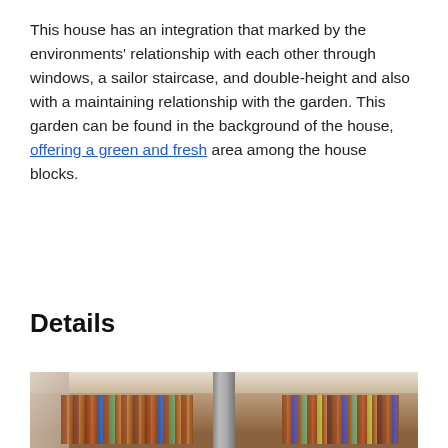This house has an integration that marked by the environments' relationship with each other through windows, a sailor staircase, and double-height and also with a maintaining relationship with the garden. This garden can be found in the background of the house, offering a green and fresh area among the house blocks.
Details
[Figure (photo): Interior photo showing bookshelves with colorful books on both sides and a cylindrical pillar in the center, with a light-colored ceiling visible at top.]